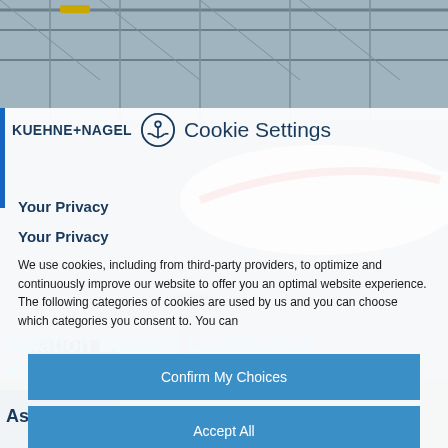[Figure (photo): Airplane in an aviation hangar with structural roof framework visible, serving as background image for a webpage screenshot]
KUEHNE+NAGEL  Cookie Settings
Your Privacy
Your Privacy
We use cookies, including from third-party providers, to optimize and continuously improve our website to offer you an optimal website experience. The following categories of cookies are used by us and you can choose which categories you consent to. You can
Aviation Leasing Logistics at Kuehne+Nagel
Confirm My Choices
Reject All
As the aviation industry experiences severe
Accept All